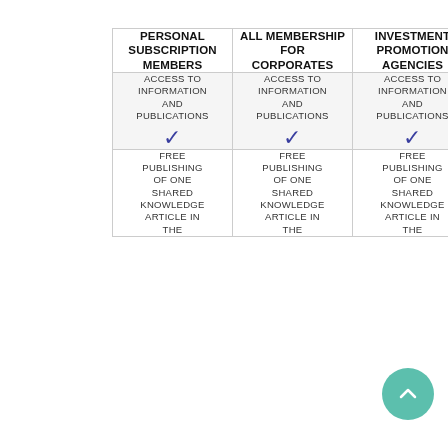| PERSONAL subscription members | All Membership for CORPORATES | Investment Promotion AGENCIES |
| --- | --- | --- |
| ACCESS TO INFORMATION AND PUBLICATIONS ✓ | ACCESS TO INFORMATION AND PUBLICATIONS ✓ | ACCESS TO INFORMATION AND PUBLICATIONS ✓ |
| FREE PUBLISHING OF ONE SHARED KNOWLEDGE ARTICLE IN THE | FREE PUBLISHING OF ONE SHARED KNOWLEDGE ARTICLE IN THE | FREE PUBLISHING OF ONE SHARED KNOWLEDGE ARTICLE IN THE |